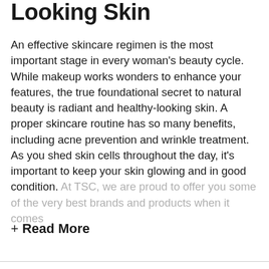Looking Skin
An effective skincare regimen is the most important stage in every woman's beauty cycle. While makeup works wonders to enhance your features, the true foundational secret to natural beauty is radiant and healthy-looking skin. A proper skincare routine has so many benefits, including acne prevention and wrinkle treatment. As you shed skin cells throughout the day, it's important to keep your skin glowing and in good condition. At TSC, we are proud to offer you some of the very best brands and products when it comes
+ Read More